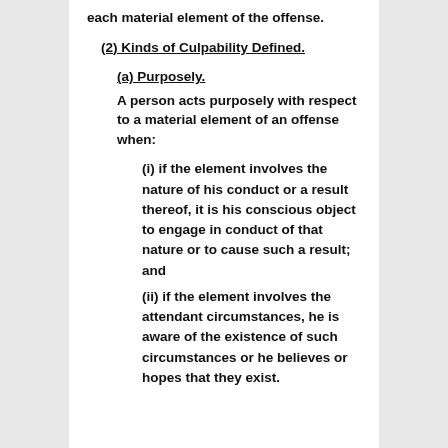each material element of the offense.
(2) Kinds of Culpability Defined.
(a) Purposely.
A person acts purposely with respect to a material element of an offense when:
(i) if the element involves the nature of his conduct or a result thereof, it is his conscious object to engage in conduct of that nature or to cause such a result; and
(ii) if the element involves the attendant circumstances, he is aware of the existence of such circumstances or he believes or hopes that they exist.